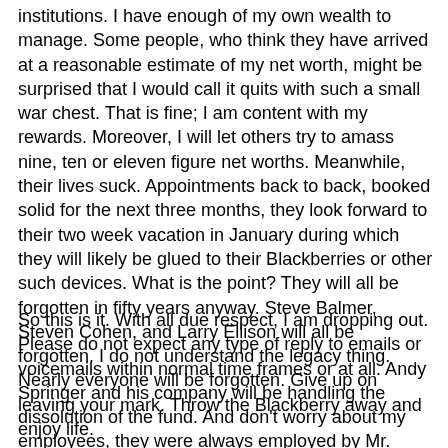institutions. I have enough of my own wealth to manage. Some people, who think they have arrived at a reasonable estimate of my net worth, might be surprised that I would call it quits with such a small war chest. That is fine; I am content with my rewards. Moreover, I will let others try to amass nine, ten or eleven figure net worths. Meanwhile, their lives suck. Appointments back to back, booked solid for the next three months, they look forward to their two week vacation in January during which they will likely be glued to their Blackberries or other such devices. What is the point? They will all be forgotten in fifty years anyway. Steve Balmer, Steven Cohen, and Larry Ellison will all be forgotten. I do not understand the legacy thing. Nearly everyone will be forgotten. Give up on leaving your mark. Throw the Blackberry away and enjoy life.
So this is it. With all due respect, I am dropping out. Please do not expect any type of reply to emails or voicemails within normal time frames or at all. Andy Springer and his company will be handling the dissolution of the fund. And don't worry about my employees, they were always employed by Mr. Springer's company and only one (who has been well-